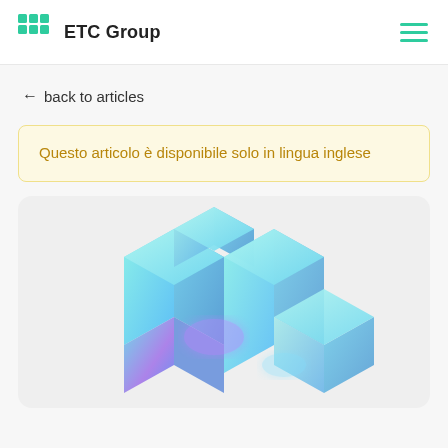ETC Group
← back to articles
Questo articolo è disponibile solo in lingua inglese
[Figure (illustration): 3D isometric illustration of translucent blue-green glowing blocks/cubes arranged in an L-shape stack, with purple glow highlights, on a light grey rounded background]